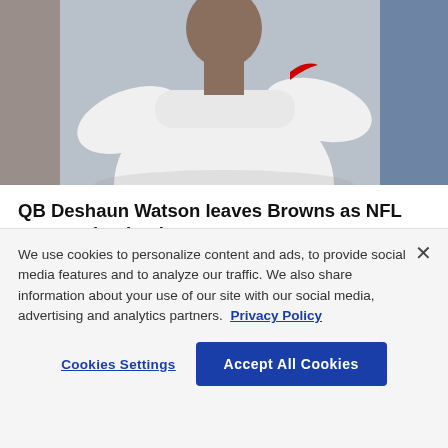[Figure (photo): Photo of a person in a white long-sleeve Nike shirt with arms crossed, photographed from the waist up against a blurred background]
QB Deshaun Watson leaves Browns as NFL suspension begins
By Tom Withers Aug. 30, 2022 03:31 PM EDT
[Figure (photo): Partial photo showing a blue background with a Buffalo Bills helmet logo]
We use cookies to personalize content and ads, to provide social media features and to analyze our traffic. We also share information about your use of our site with our social media, advertising and analytics partners. Privacy Policy
Cookies Settings | Accept All Cookies